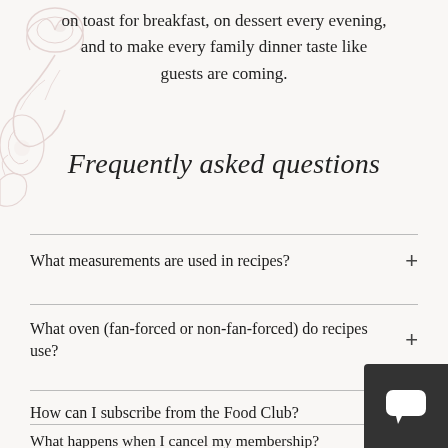on toast for breakfast, on dessert every evening, and to make every family dinner taste like guests are coming.
Frequently asked questions
What measurements are used in recipes?
What oven (fan-forced or non-fan-forced) do recipes use?
How can I subscribe from the Food Club?
What happens when I cancel my membership?
[Figure (other): Dark grey chat/messaging widget button in the bottom-right corner, containing a white speech bubble icon.]